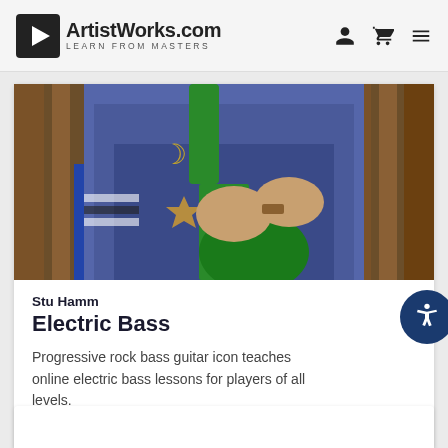ArtistWorks.com — LEARN FROM MASTERS
[Figure (photo): Close-up photo of Stu Hamm holding a green electric bass guitar, wearing a denim jacket with star tattoos visible on his hands, in front of wooden pallets]
Stu Hamm
Electric Bass
Progressive rock bass guitar icon teaches online electric bass lessons for players of all levels.
LEARN MORE →